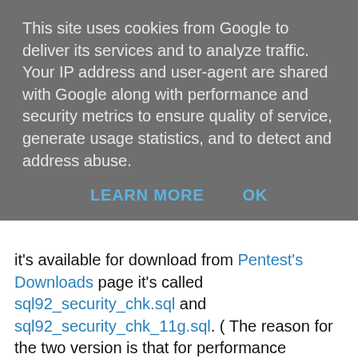This site uses cookies from Google to deliver its services and to analyze traffic. Your IP address and user-agent are shared with Google along with performance and security metrics to ensure quality of service, generate usage statistics, and to detect and address abuse.
LEARN MORE   OK
it's available for download from Pentest's Downloads page it's called sql92_security_chk.sql and sql92_security_chk_11g.sql. ( The reason for the two version is that for performance reasons I used the underlying data dictionary tables as against the human readable views. Unfortunately Oracle changed one of the tables in 11g.)
So no excuses, run the query on your database, if it comes back with nothing then go ahead and set SQL92_SECURITY to TRUE. However if it comes back with something; you need to be asking yourself if these users require these update/delete privileges. Or of course it may highlight cases where users are lacking required SELECT privileges.
I have to say, I'm really surprised that Oracle haven't made